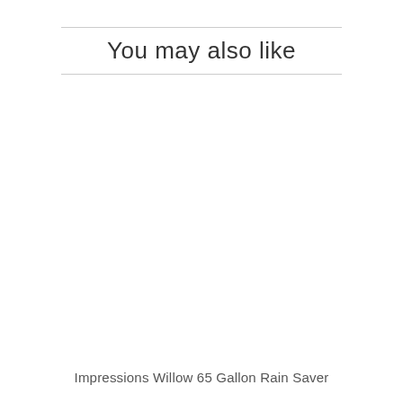You may also like
Impressions Willow 65 Gallon Rain Saver